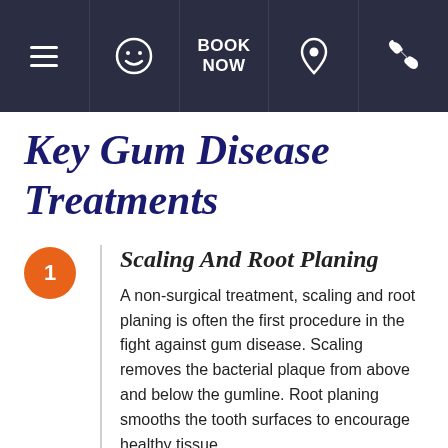☰  😊  BOOK NOW  📍  📞
Key Gum Disease Treatments
Scaling And Root Planing
A non-surgical treatment, scaling and root planing is often the first procedure in the fight against gum disease. Scaling removes the bacterial plaque from above and below the gumline. Root planing smooths the tooth surfaces to encourage healthy tissue attachment and reducing reinfection.